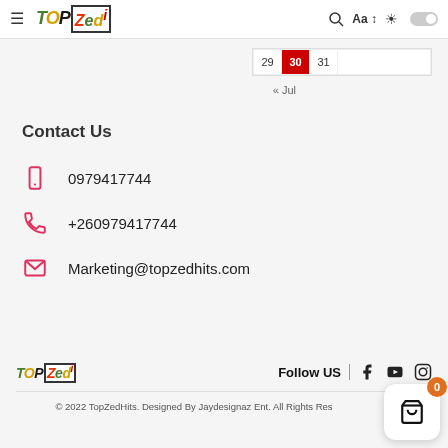TOPZedi navigation bar with hamburger menu, logo, search, font size, and dark mode toggle
| 29 | 30 | 31 |
| --- | --- | --- |
|  |
« Jul
Contact Us
0979417744
+260979417744
Marketing@topzedhits.com
TOPZedi logo | Follow US | Facebook | YouTube | Instagram
© 2022 TopZedHits. Designed By Jaydesignaz Ent. All Rights Reserved